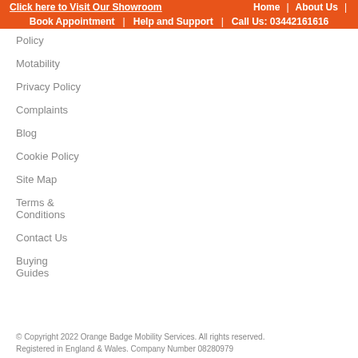Click here to Visit Our Showroom | Home | About Us | Book Appointment | Help and Support | Call Us: 03442161616
Policy
Motability
Privacy Policy
Complaints
Blog
Cookie Policy
Site Map
Terms & Conditions
Contact Us
Buying Guides
© Copyright 2022 Orange Badge Mobility Services. All rights reserved. Registered in England & Wales. Company Number 08280979